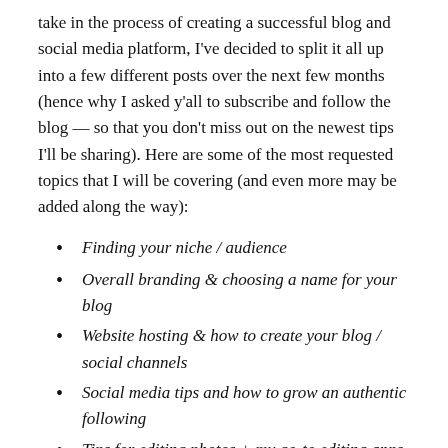take in the process of creating a successful blog and social media platform, I've decided to split it all up into a few different posts over the next few months (hence why I asked y'all to subscribe and follow the blog — so that you don't miss out on the newest tips I'll be sharing). Here are some of the most requested topics that I will be covering (and even more may be added along the way):
Finding your niche / audience
Overall branding & choosing a name for your blog
Website hosting & how to create your blog / social channels
Social media tips and how to grow an authentic following
Tips for editing photos + my go-to editing apps
Planning & managing content for your blog & social media channels
Collaborations & monetizing your blog
… maybe more???